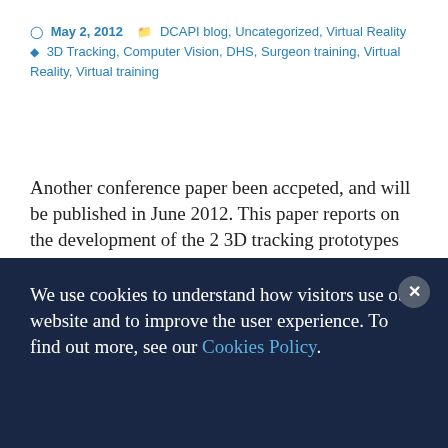May 2, 2012  DCAPI blog, Uncategorized, Virtual Reality  3D Tracking, Computer Vision, DHS, Surgeon training, Virtual Reality, Virtual training
Another conference paper been accpeted, and will be published in June 2012. This paper reports on the development of the 2 3D tracking prototypes for virtual reality training of surgeons (in vitro / Off patient), especially for the Dynamic Hip Screw surgical procedure (in particular: the insertion of the guide-wire).
We use cookies to understand how visitors use our website and to improve the user experience. To find out more, see our Cookies Policy.